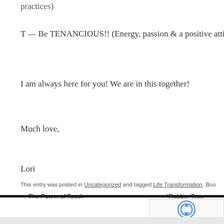practices)
T — Be TENANCIOUS!! (Energy, passion & a positive attitude
I am always here for you! We are in this together!
Much love,
Lori
This entry was posted in Uncategorized and tagged Life Transformation. Boo
← The Power of Touch    *Rubber Tree